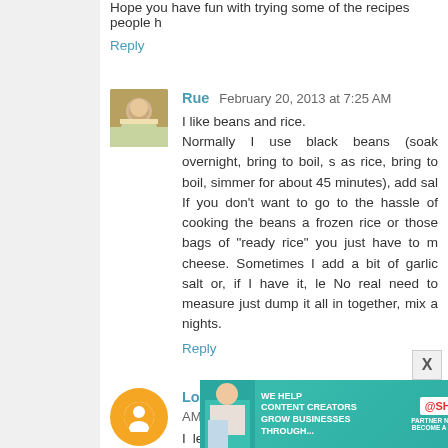Hope you have fun with trying some of the recipes people h
Reply
Rue  February 20, 2013 at 7:25 AM
I like beans and rice.
Normally I use black beans (soak overnight, bring to boil, s as rice, bring to boil, simmer for about 45 minutes), add sal If you don't want to go to the hassle of cooking the beans a frozen rice or those bags of "ready rice" you just have to m cheese. Sometimes I add a bit of garlic salt or, if I have it, le No real need to measure just dump it all in together, mix a nights.
Reply
Lorraine H.  February 20, 2013 at 7:26 AM
I learned to cook out of necessity. Mom and dad divorced w youngest. Did my first solo Thanksgiving meal at age 12. didn't really catch onto it other than the simple things. Unt "cooking." Anyway, ever the independent lass, she would herself if I was preoccupied.
Jen, perhaps it's just the way your mind learns. I am
[Figure (infographic): Advertisement banner for SHE Media Partner Network: 'We help content creators grow businesses through...' with Learn More button]